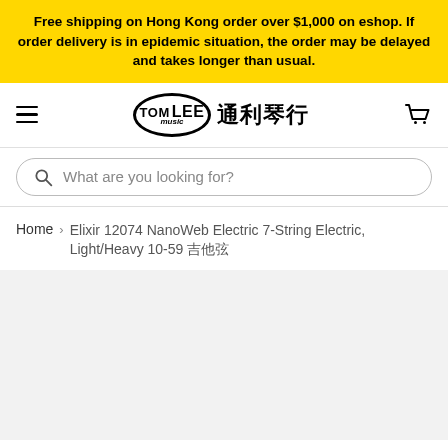Free shipping on Hong Kong order over $1,000 on eshop. If order delivery is in epidemic situation, the order may be delayed and takes longer than usual.
[Figure (logo): Tom Lee Music logo with Chinese text 通利琴行]
What are you looking for?
Home > Elixir 12074 NanoWeb Electric 7-String Electric, Light/Heavy 10-59 吉他弦
[Figure (photo): Product image area, light grey background, product not fully loaded]